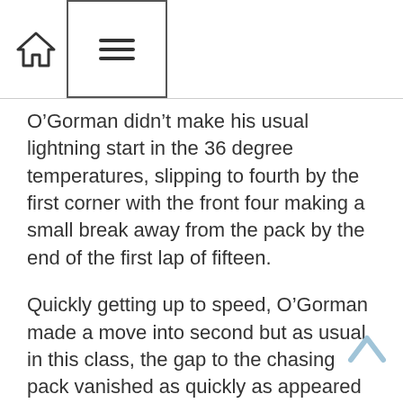[Figure (other): Navigation bar with home icon and hamburger menu icon]
O’Gorman didn’t make his usual lightning start in the 36 degree temperatures, slipping to fourth by the first corner with the front four making a small break away from the pack by the end of the first lap of fifteen.
Quickly getting up to speed, O’Gorman made a move into second but as usual in this class, the gap to the chasing pack vanished as quickly as appeared and the battle for the lead turned into a ten bike freight train.
Three laps in and O’Gorman’s recent run of misfortune continued as he suddenly sat up